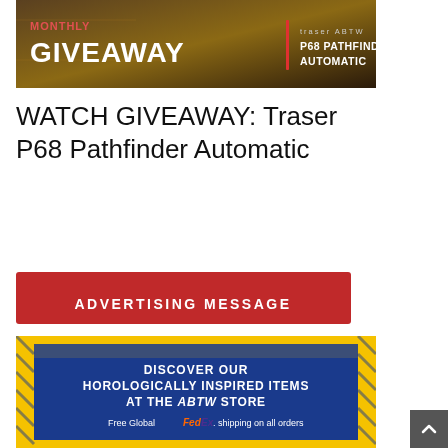[Figure (illustration): Monthly Giveaway banner with dark background showing 'MONTHLY GIVEAWAY' text and 'traser ABTW P68 PATHFINDER AUTOMATIC' product text]
WATCH GIVEAWAY: Traser P68 Pathfinder Automatic
[Figure (illustration): Red button banner reading 'ADVERTISING MESSAGE' in white bold uppercase letters]
[Figure (illustration): ABTW store advertisement with blue background and yellow tiger-stripe border. Text: 'DISCOVER OUR HOROLOGICALLY INSPIRED ITEMS AT THE ABTW STORE'. Subtext: 'Free Global FedEx. shipping on all orders']